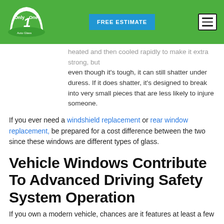[Figure (logo): Only One Auto Glass logo — white shield/windshield wiper shape on green background with text 'Only One' and numeral '1']
heated and then cooled rapidly to make it extra strong, but even though it's tough, it can still shatter under duress. If it does shatter, it's designed to break into very small pieces that are less likely to injure someone.
If you ever need a windshield replacement or rear window replacement, be prepared for a cost difference between the two since these windows are different types of glass.
Vehicle Windows Contribute To Advanced Driving Safety System Operation
If you own a modern vehicle, chances are it features at least a few